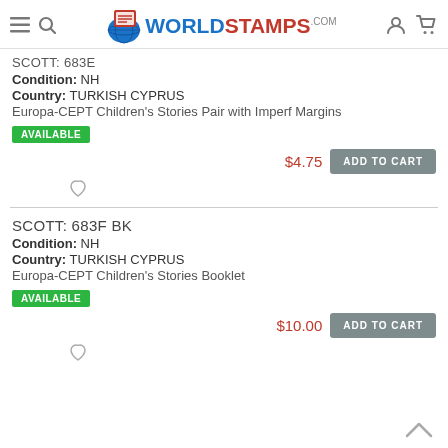WorldStamps.com
SCOTT: 683E
Condition: NH
Country: TURKISH CYPRUS
Europa-CEPT Children's Stories Pair with Imperf Margins
AVAILABLE
$4.75  ADD TO CART
SCOTT: 683F BK
Condition: NH
Country: TURKISH CYPRUS
Europa-CEPT Children's Stories Booklet
AVAILABLE
$10.00  ADD TO CART